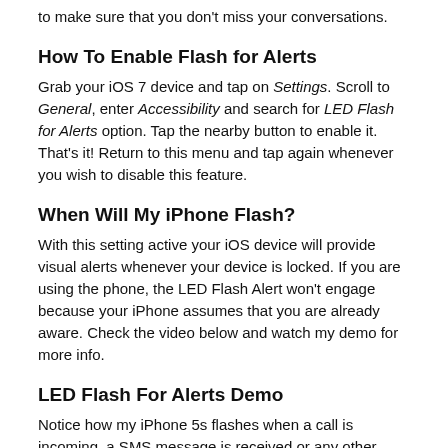to make sure that you don't miss your conversations.
How To Enable Flash for Alerts
Grab your iOS 7 device and tap on Settings. Scroll to General, enter Accessibility and search for LED Flash for Alerts option. Tap the nearby button to enable it. That's it! Return to this menu and tap again whenever you wish to disable this feature.
When Will My iPhone Flash?
With this setting active your iOS device will provide visual alerts whenever your device is locked. If you are using the phone, the LED Flash Alert won't engage because your iPhone assumes that you are already aware. Check the video below and watch my demo for more info.
LED Flash For Alerts Demo
Notice how my iPhone 5s flashes when a call is incoming, a SMS message is received or any other